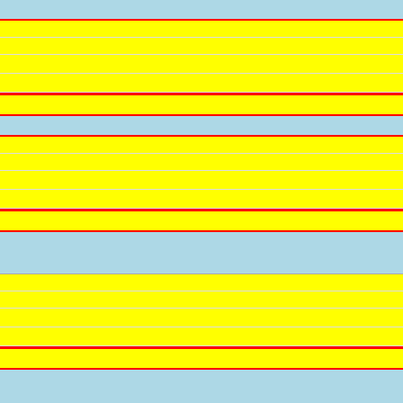| Date/Match | Stats Left | Stats Right |
| --- | --- | --- |
| 4.5.2022 Tokushima Vortis - Jef United Chiba 1 : 0 | (11-9-11) - (6-19-5) | D W L W |
|  | (6-4-6) - (3-9-3) | W |
|  | (33-32) - (32-25) | 2 4 5 |
|  | (14-13) - (16-14) | 3+ 0-2 0- |
| 8.20.2022 11:0 |  | Yoko |
| 20.3.2022 Fagiano Okayama - Yokohama 1 : 1 | (17-9-5) - (13-12-5) | W W W D D |
|  | (11-3-2) - (5-7-2) | W D |
|  | (49-35) - (44-31) | 5 2 3 |
|  | (27-15) - (18-15) | 0-2 0-2 0 |
| 8.20.2022 11:30 |  | Ryuk |
| 22.5.2021 Ryukyu - Montedio Yamagata 0 : 2 / 22.8.2021 Montedio Yamagata - Ryukyu 2 : 2 / 5.6.2022 Montedio Yamagata - Ryukyu 4 : 0 | (6-9-16) - (12-9-9) | L L L W D |
|  | (2-7-7) - (5-7-4) | D |
|  | (35-54) - (43-30) | 1 1 3 |
|  | (20-26) - (18-16) | 0-2 3+ 3- |
| 8.20.2022 12:0 |  | Zweigen K |
| 27.2.2021 V-Varen Nagasaki - Zweigen Kanazawa / 25.8.2021 Zweigen Kanazawa - V-Varen Nagasaki / 26.3.2022 V-Varen Nagasaki - Zweigen Kanazawa | (9-8-14) - (13-8-10) | L W L W |
|  | (7-4-0) - (0-4-5) | W |